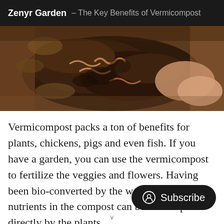Zenyr Garden – The Key Benefits of Vermicompost
[Figure (photo): Close-up photo of hands holding dark compost soil with earthworms visible, against a blurred earthy background]
Vermicompost packs a ton of benefits for plants, chickens, pigs and even fish. If you have a garden, you can use the vermicompost to fertilize the veggies and flowers. Having been bio-converted by the worms, the nutrients in the compost can be taken up directly by the plants.